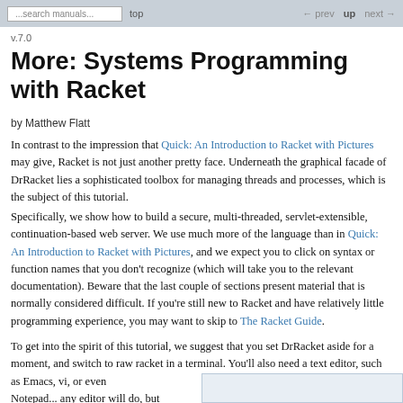...search manuals...   top   ← prev   up   next →
v.7.0
More: Systems Programming with Racket
by Matthew Flatt
In contrast to the impression that Quick: An Introduction to Racket with Pictures may give, Racket is not just another pretty face. Underneath the graphical facade of DrRacket lies a sophisticated toolbox for managing threads and processes, which is the subject of this tutorial.
Specifically, we show how to build a secure, multi-threaded, servlet-extensible, continuation-based web server. We use much more of the language than in Quick: An Introduction to Racket with Pictures, and we expect you to click on syntax or function names that you don't recognize (which will take you to the relevant documentation). Beware that the last couple of sections present material that is normally considered difficult. If you're still new to Racket and have relatively little programming experience, you may want to skip to The Racket Guide.
To get into the spirit of this tutorial, we suggest that you set DrRacket aside for a moment, and switch to raw racket in a terminal. You'll also need a text editor, such as Emacs, vi, or even Notepad... any editor will do, but